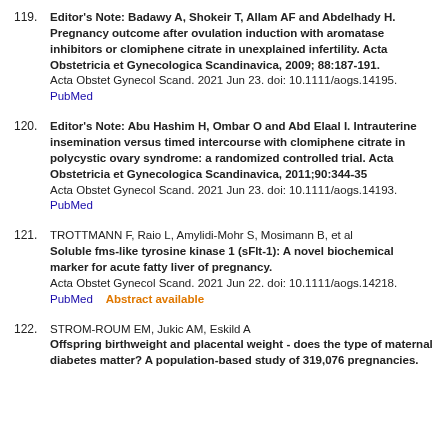119. Editor's Note: Badawy A, Shokeir T, Allam AF and Abdelhady H. Pregnancy outcome after ovulation induction with aromatase inhibitors or clomiphene citrate in unexplained infertility. Acta Obstetricia et Gynecologica Scandinavica, 2009; 88:187-191. Acta Obstet Gynecol Scand. 2021 Jun 23. doi: 10.1111/aogs.14195. PubMed
120. Editor's Note: Abu Hashim H, Ombar O and Abd Elaal I. Intrauterine insemination versus timed intercourse with clomiphene citrate in polycystic ovary syndrome: a randomized controlled trial. Acta Obstetricia et Gynecologica Scandinavica, 2011;90:344-35 Acta Obstet Gynecol Scand. 2021 Jun 23. doi: 10.1111/aogs.14193. PubMed
121. TROTTMANN F, Raio L, Amylidi-Mohr S, Mosimann B, et al Soluble fms-like tyrosine kinase 1 (sFlt-1): A novel biochemical marker for acute fatty liver of pregnancy. Acta Obstet Gynecol Scand. 2021 Jun 22. doi: 10.1111/aogs.14218. PubMed   Abstract available
122. STROM-ROUM EM, Jukic AM, Eskild A Offspring birthweight and placental weight - does the type of maternal diabetes matter? A population-based study of 319,076 pregnancies.